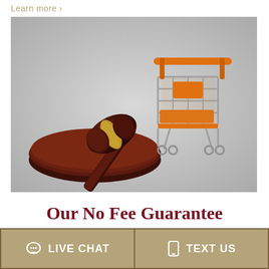Learn more →
[Figure (photo): A wooden judge's gavel resting on its sound block beside a miniature orange and silver shopping cart, set against a light gray background.]
Our No Fee Guarantee
LIVE CHAT
TEXT US